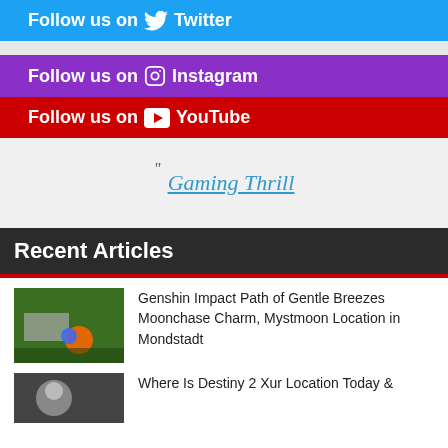Follow us on Twitter
Follow us on Instagram
Follow us on YouTube
[Figure (logo): Gaming Thrill logo with quotation mark, italic teal underlined text]
Recent Articles
Genshin Impact Path of Gentle Breezes Moonchase Charm, Mystmoon Location in Mondstadt
Where Is Destiny 2 Xur Location Today &